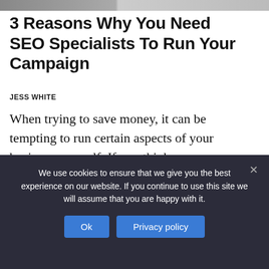[Figure (photo): Top strip showing a partial image, appears to be a blurred/cropped header photo]
3 Reasons Why You Need SEO Specialists To Run Your Campaign
JESS WHITE
When trying to save money, it can be tempting to run certain aspects of your business yourself. If you think...
[Figure (photo): Photo of a laptop computer on a desk with colorful items, showing a website on screen]
We use cookies to ensure that we give you the best experience on our website. If you continue to use this site we will assume that you are happy with it.